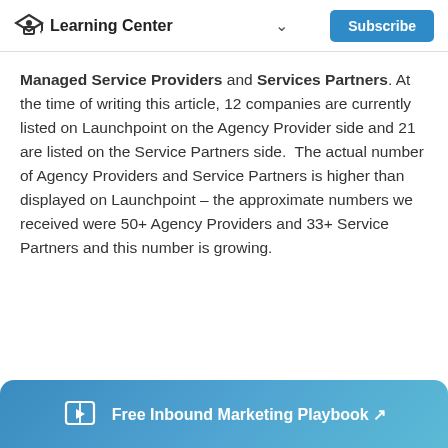Learning Center  ∨  Subscribe
Managed Service Providers and Services Partners. At the time of writing this article, 12 companies are currently listed on Launchpoint on the Agency Provider side and 21 are listed on the Service Partners side.  The actual number of Agency Providers and Service Partners is higher than displayed on Launchpoint – the approximate numbers we received were 50+ Agency Providers and 33+ Service Partners and this number is growing.
Free Inbound Marketing Playbook ↗